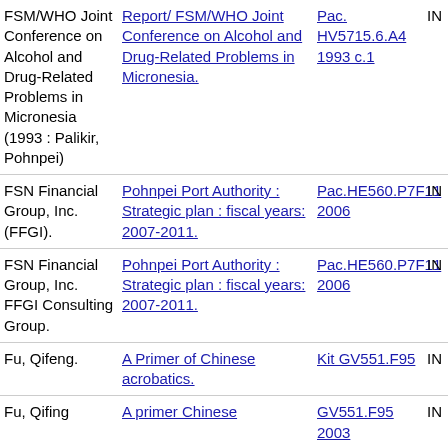| Author | Title | Call Number | Status |
| --- | --- | --- | --- |
| FSM/WHO Joint Conference on Alcohol and Drug-Related Problems in Micronesia (1993 : Palikir, Pohnpei) | Report/ FSM/WHO Joint Conference on Alcohol and Drug-Related Problems in Micronesia. | Pac. HV5715.6.A4 1993 c.1 | IN |
| FSN Financial Group, Inc. (FFGI). | Pohnpei Port Authority : Strategic plan : fiscal years: 2007-2011. | Pac.HE560.P7F11 2006 | IN |
| FSN Financial Group, Inc. FFGI Consulting Group. | Pohnpei Port Authority : Strategic plan : fiscal years: 2007-2011. | Pac.HE560.P7F11 2006 | IN |
| Fu, Qifeng. | A Primer of Chinese acrobatics. | Kit GV551.F95 | IN |
| Fu, Qifing | A primer Chinese | GV551.F95 2003 | IN |